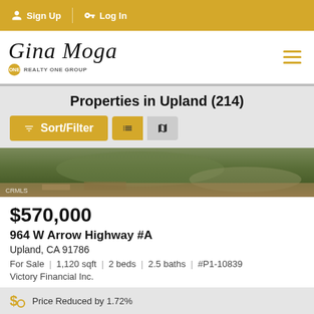Sign Up | Log In
[Figure (logo): Gina Moga Realty One Group logo with cursive text]
Properties in Upland (214)
[Figure (photo): Aerial or overhead photo of property with greenery, CRMLS watermark]
$570,000
964 W Arrow Highway #A
Upland, CA 91786
For Sale | 1,120 sqft | 2 beds | 2.5 baths | #P1-10839
Victory Financial Inc.
Price Reduced by 1.72%